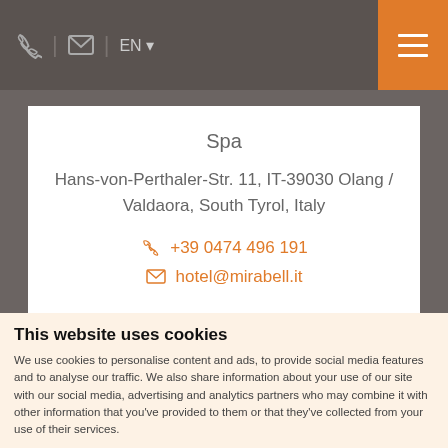EN
Spa
Hans-von-Perthaler-Str. 11, IT-39030 Olang / Valdaora, South Tyrol, Italy
+39 0474 496 191
hotel@mirabell.it
This website uses cookies
We use cookies to personalise content and ads, to provide social media features and to analyse our traffic. We also share information about your use of our site with our social media, advertising and analytics partners who may combine it with other information that you've provided to them or that they've collected from your use of their services.
Deny | Allow selection | Allow all
Necessary   Preferences   Statistics   Marketing   Show details